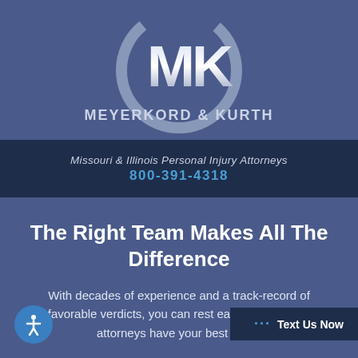[Figure (logo): Meyerkord & Kurth law firm logo with MK letters inside a circular arc, on blue background]
Missouri & Illinois Personal Injury Attorneys
800-391-4318
The Right Team Makes All The Difference
With decades of experience and a track-record of favorable verdicts, you can rest easy knowing our attorneys have your best intere
Text Us Now